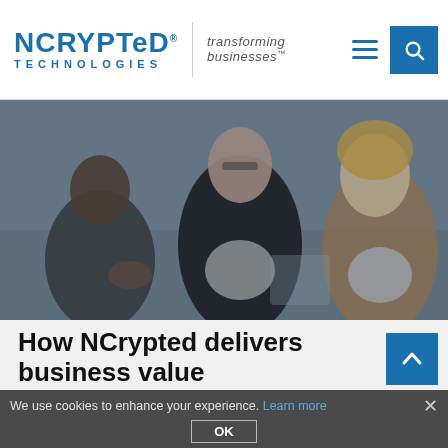NCrypted Technologies — transforming businesses™
[Figure (photo): Three business professionals (two women and one man) sitting at a conference table in discussion, dark overlay tint applied to the image]
How NCrypted delivers business value
We use cookies to enhance your experience. Learn more  ×  OK